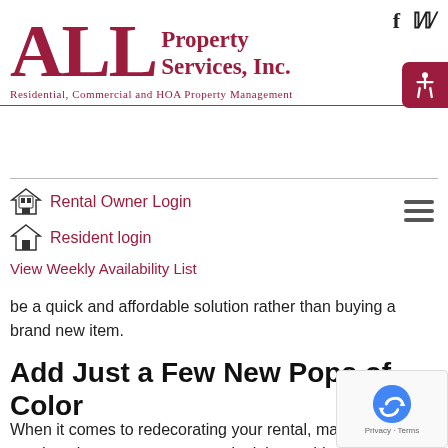[Figure (logo): ALL Property Services, Inc. logo with tagline 'Residential, Commercial and HOA Property Management']
Rental Owner Login | Resident login | View Weekly Availability List
be a quick and affordable solution rather than buying a brand new item.
Add Just a Few New Pops of Color
When it comes to redecorating your rental, maybe all you need to give your space a new look is to add a few pops of color. This can be as easy as adding a decorative throw or a few pillows. Try changing out the centerpiece